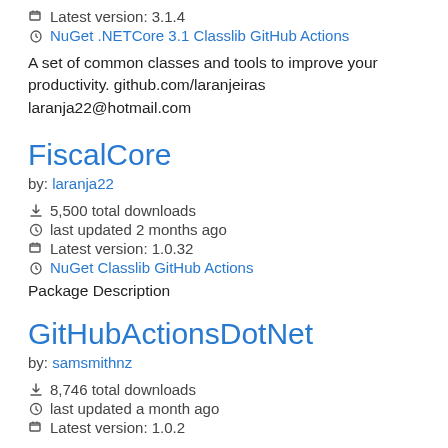Latest version: 3.1.4
NuGet .NETCore 3.1 Classlib GitHub Actions
A set of common classes and tools to improve your productivity. github.com/laranjeiras laranja22@hotmail.com
FiscalCore
by: laranja22
5,500 total downloads
last updated 2 months ago
Latest version: 1.0.32
NuGet Classlib GitHub Actions
Package Description
GitHubActionsDotNet
by: samsmithnz
8,746 total downloads
last updated a month ago
Latest version: 1.0.2